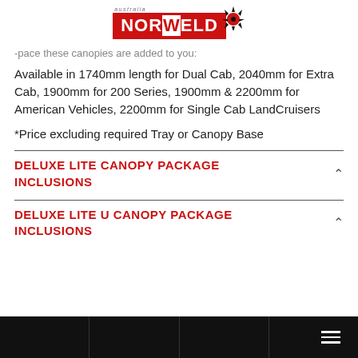[Figure (logo): Australia Norweld red logo with sun icon and white text on red background]
-pace these canopies are added to you:
Available in 1740mm length for Dual Cab, 2040mm for Extra Cab, 1900mm for 200 Series, 1900mm & 2200mm for American Vehicles, 2200mm for Single Cab LandCruisers
*Price excluding required Tray or Canopy Base
DELUXE LITE CANOPY PACKAGE INCLUSIONS
DELUXE LITE U CANOPY PACKAGE INCLUSIONS